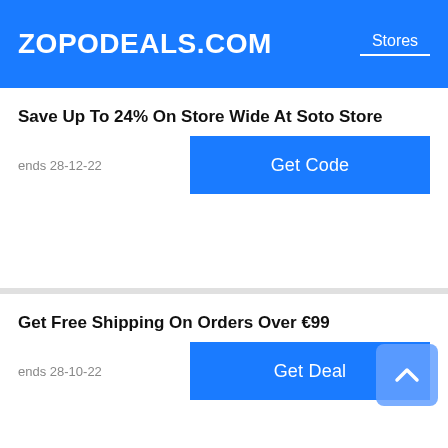ZOPODEALS.COM  Stores
Save Up To 24% On Store Wide At Soto Store
ends 28-12-22
Get Code
Get Free Shipping On Orders Over €99
ends 28-10-22
Get Deal
Discount Code Now Up To 30% Off SOTO Berlin Online
Get Code